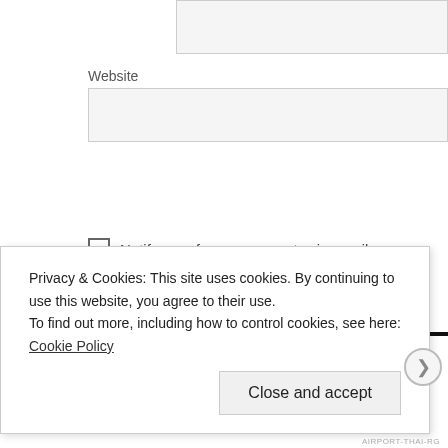Website
Post Comment
Notify me of new comments via email.
Notify me of new posts via email.
Search
Recent Posts
Privacy & Cookies: This site uses cookies. By continuing to use this website, you agree to their use.
To find out more, including how to control cookies, see here: Cookie Policy
Close and accept
AIRPORT-THAI-RG